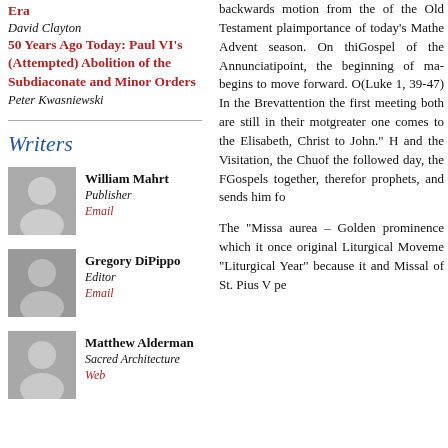Era
David Clayton
50 Years Ago Today: Paul VI's (Attempted) Abolition of the Subdiaconate and Minor Orders
Peter Kwasniewski
Writers
William Mahrt
Publisher
Email
Gregory DiPippo
Editor
Email
Matthew Alderman
Sacred Architecture
Web
backwards motion from the of the Old Testament pla importance of today's Ma the Advent season. On thi Gospel of the Annunciati point, the beginning of ma begins to move forward. O (Luke 1, 39-47) In the Brev attention the first meeting both are still in their mot greater one comes to the Elisabeth, Christ to John.' H and the Visitation, the Chu of the followed day, the F Gospels together, therefor prophets, and sends him fo
The “Missa aurea – Golden prominence which it once original Liturgical Moveme “Liturgical Year” because it and Missal of St. Pius V pe